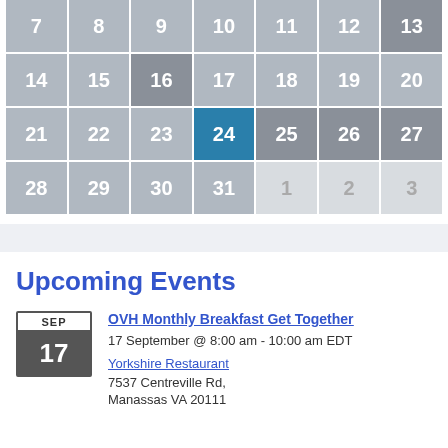[Figure (other): Monthly calendar grid showing dates 7-31 with date 24 highlighted in blue and remaining cells in various shades of gray. Dates 1, 2, 3 shown in lighter gray in the last row.]
Upcoming Events
OVH Monthly Breakfast Get Together
17 September @ 8:00 am - 10:00 am EDT
Yorkshire Restaurant
7537 Centreville Rd,
Manassas VA 20111